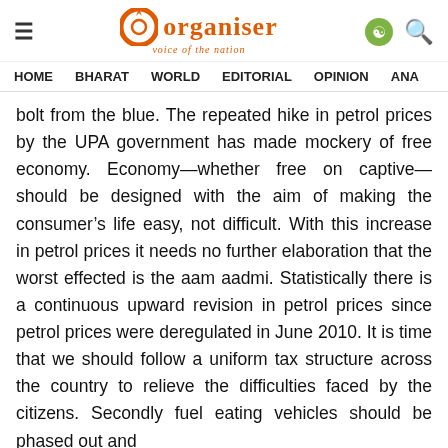Organiser — voice of the nation | HOME | BHARAT | WORLD | EDITORIAL | OPINION | ANA...
bolt from the blue. The repeated hike in petrol prices by the UPA government has made mockery of free economy. Economy—whether free on captive—should be designed with the aim of making the consumer's life easy, not difficult. With this increase in petrol prices it needs no further elaboration that the worst effected is the aam aadmi. Statistically there is a continuous upward revision in petrol prices since petrol prices were deregulated in June 2010. It is time that we should follow a uniform tax structure across the country to relieve the difficulties faced by the citizens. Secondly fuel eating vehicles should be phased out and